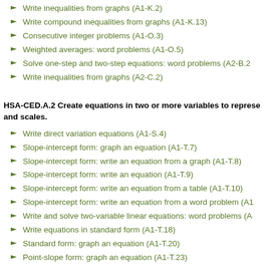Write inequalities from graphs (A1-K.2)
Write compound inequalities from graphs (A1-K.13)
Consecutive integer problems (A1-O.3)
Weighted averages: word problems (A1-O.5)
Solve one-step and two-step equations: word problems (A2-B.2)
Write inequalities from graphs (A2-C.2)
HSA-CED.A.2 Create equations in two or more variables to represent relationships between quantities; graph equations on coordinate axes with labels and scales.
Write direct variation equations (A1-S.4)
Slope-intercept form: graph an equation (A1-T.7)
Slope-intercept form: write an equation from a graph (A1-T.8)
Slope-intercept form: write an equation (A1-T.9)
Slope-intercept form: write an equation from a table (A1-T.10)
Slope-intercept form: write an equation from a word problem (A1-...)
Write and solve two-variable linear equations: word problems (A...)
Write equations in standard form (A1-T.18)
Standard form: graph an equation (A1-T.20)
Point-slope form: graph an equation (A1-T.23)